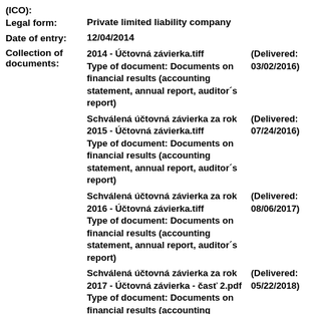(ICO):
Legal form: Private limited liability company
Date of entry: 12/04/2014
Collection of documents: 2014 - Účtovná závierka.tiff Type of document: Documents on financial results (accounting statement, annual report, auditor´s report) (Delivered: 03/02/2016)
Schválená účtovná závierka za rok 2015 - Účtovná závierka.tiff Type of document: Documents on financial results (accounting statement, annual report, auditor´s report) (Delivered: 07/24/2016)
Schválená účtovná závierka za rok 2016 - Účtovná závierka.tiff Type of document: Documents on financial results (accounting statement, annual report, auditor´s report) (Delivered: 08/06/2017)
Schválená účtovná závierka za rok 2017 - Účtovná závierka - časť 2.pdf Type of document: Documents on financial results (accounting (Delivered: 05/22/2018)